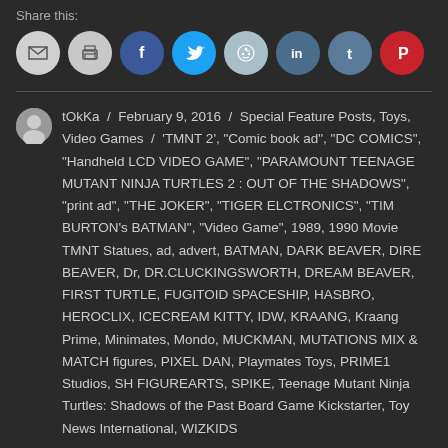Share this:
[Figure (infographic): Social sharing icons: email (gray), print (gray), Facebook (blue), Twitter (light blue), Reddit (light blue-gray), LinkedIn (dark blue), Tumblr (dark blue-gray), Pinterest (red)]
tOkKa / February 9, 2016 / Special Feature Posts, Toys, Video Games / 'TMNT 2', "Comic book ad", "DC COMICS", "Handheld LCD VIDEO GAME", "PARAMOUNT TEENAGE MUTANT NINJA TURTLES 2 : OUT OF THE SHADOWS", "print ad", "THE JOKER", "TIGER ELCTRONICS", "TIM BURTON's BATMAN", "Video Game", 1989, 1990 Movie TMNT Statues, ad, advert, BATMAN, DARK BEAVER, DIRE BEAVER, Dr, DR.CLUCKINGSWORTH, DREAM BEAVER, FIRST TURTLE, FUGITOID SPACESHIP, HASBRO, HEROCLIX, ICECREAM KITTY, IDW, KRAANG, Kraang Prime, Minimates, Mondo, MUCKMAN, MUTATIONS MIX & MATCH figures, PIXEL DAN, Playmates Toys, PRIME1 Studios, SH FIGUREARTS, SPIKE, Teenage Mutant Ninja Turtles: Shadows of the Past Board Game Kickstarter, Toy News International, WIZKIDS